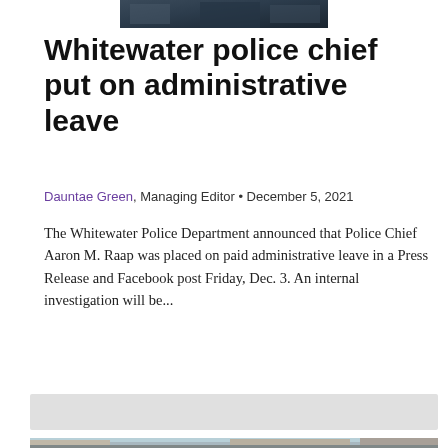[Figure (photo): Partial photo at top of page, dark tones, appears to show a person in a police or similar uniform]
Whitewater police chief put on administrative leave
Dauntae Green, Managing Editor • December 5, 2021
The Whitewater Police Department announced that Police Chief Aaron M. Raap was placed on paid administrative leave in a Press Release and Facebook post Friday, Dec. 3. An internal investigation will be...
[Figure (photo): Street scene showing a downtown intersection with construction barriers, a stop sign, a red SUV, storefronts, and two people seated at a table in the foreground]